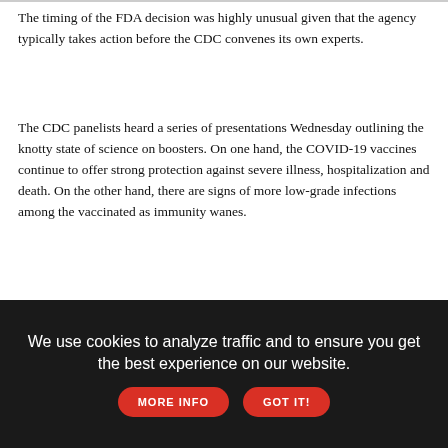The timing of the FDA decision was highly unusual given that the agency typically takes action before the CDC convenes its own experts.
The CDC panelists heard a series of presentations Wednesday outlining the knotty state of science on boosters. On one hand, the COVID-19 vaccines continue to offer strong protection against severe illness, hospitalization and death. On the other hand, there are signs of more low-grade infections among the vaccinated as immunity wanes.
[Figure (illustration): Advertisement image showing Ben Platt The Reverie Tour in dark red cursive script on a light background with a red lips kiss mark icon]
We use cookies to analyze traffic and to ensure you get the best experience on our website. MORE INFO GOT IT!